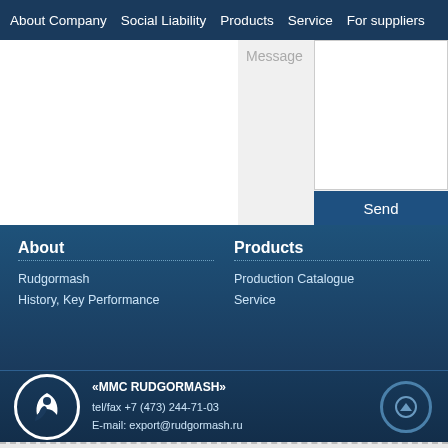About Company  Social Liability  Products  Service  For suppliers
[Figure (screenshot): Contact form area with Message label, text input box, and Send button on light grey background]
About
Rudgormash
History, Key Performance
Products
Production Catalogue
Service
«MMC RUDGORMASH» tel/fax +7 (473) 244-71-03 E-mail: export@rudgormash.ru